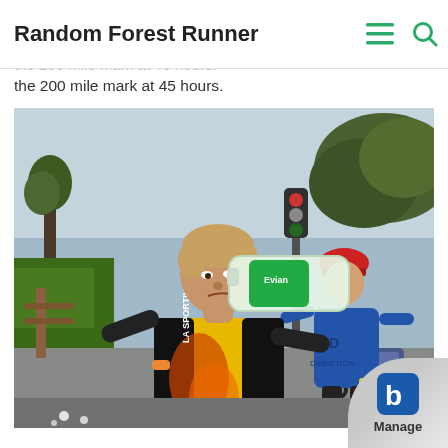Random Forest Runner
dawn I stopped for one more nap, a much more merciful mountain in Cowling, just past the 200 mile mark at 45 hours.
[Figure (photo): A runner wearing a yellow and black La Sportiva vest drinking from a large plastic water bottle during what appears to be an ultramarathon. Another runner in a blue shirt and red cap is visible in the background. Trees and a road are visible behind them.]
Manage